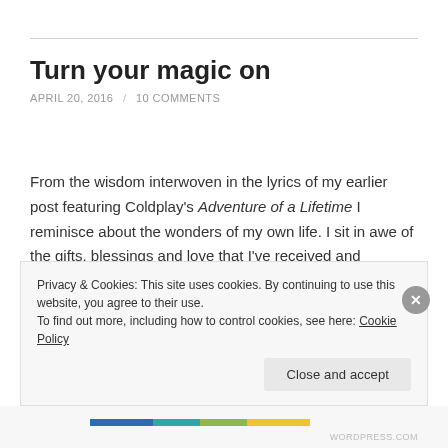Turn your magic on
APRIL 20, 2016 / 10 COMMENTS
From the wisdom interwoven in the lyrics of my earlier post featuring Coldplay's Adventure of a Lifetime I reminisce about the wonders of my own life. I sit in awe of the gifts, blessings and love that I've received and experienced in this blip of time that is my life.
Privacy & Cookies: This site uses cookies. By continuing to use this website, you agree to their use.
To find out more, including how to control cookies, see here: Cookie Policy
Close and accept